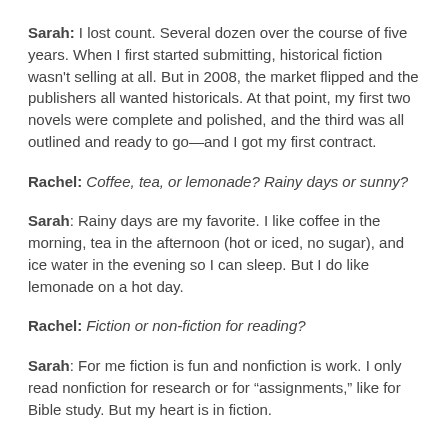Sarah: I lost count. Several dozen over the course of five years. When I first started submitting, historical fiction wasn't selling at all. But in 2008, the market flipped and the publishers all wanted historicals. At that point, my first two novels were complete and polished, and the third was all outlined and ready to go—and I got my first contract.
Rachel: Coffee, tea, or lemonade? Rainy days or sunny?
Sarah: Rainy days are my favorite. I like coffee in the morning, tea in the afternoon (hot or iced, no sugar), and ice water in the evening so I can sleep. But I do like lemonade on a hot day.
Rachel: Fiction or non-fiction for reading?
Sarah: For me fiction is fun and nonfiction is work. I only read nonfiction for research or for “assignments,” like for Bible study. But my heart is in fiction.